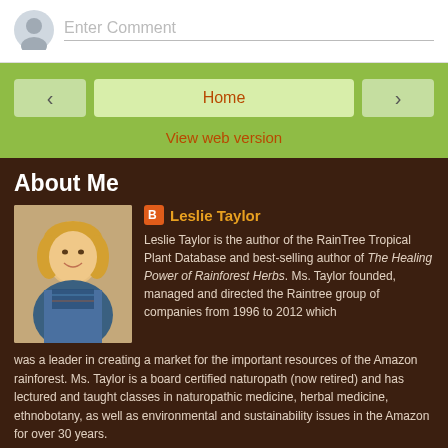[Figure (screenshot): Comment input area with gray avatar icon and 'Enter Comment' placeholder text field]
[Figure (screenshot): Green navigation bar with left arrow, Home button, right arrow, and 'View web version' link in orange-brown]
About Me
[Figure (photo): Profile photo of Leslie Taylor, a blonde woman smiling]
Leslie Taylor is the author of the RainTree Tropical Plant Database and best-selling author of The Healing Power of Rainforest Herbs. Ms. Taylor founded, managed and directed the Raintree group of companies from 1996 to 2012 which was a leader in creating a market for the important resources of the Amazon rainforest. Ms. Taylor is a board certified naturopath (now retired) and has lectured and taught classes in naturopathic medicine, herbal medicine, ethnobotany, as well as environmental and sustainability issues in the Amazon for over 30 years.
View my complete profile